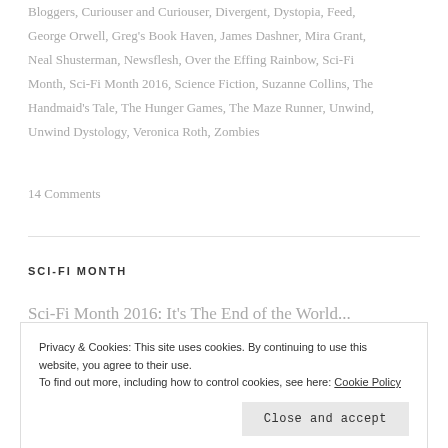Bloggers, Curiouser and Curiouser, Divergent, Dystopia, Feed, George Orwell, Greg's Book Haven, James Dashner, Mira Grant, Neal Shusterman, Newsflesh, Over the Effing Rainbow, Sci-Fi Month, Sci-Fi Month 2016, Science Fiction, Suzanne Collins, The Handmaid's Tale, The Hunger Games, The Maze Runner, Unwind, Unwind Dystology, Veronica Roth, Zombies
14 Comments
SCI-FI MONTH
Sci-Fi Month 2016: It's The End of the World...
Privacy & Cookies: This site uses cookies. By continuing to use this website, you agree to their use.
To find out more, including how to control cookies, see here: Cookie Policy
Close and accept
[Figure (other): Partial image placeholder labeled sfm15_5]